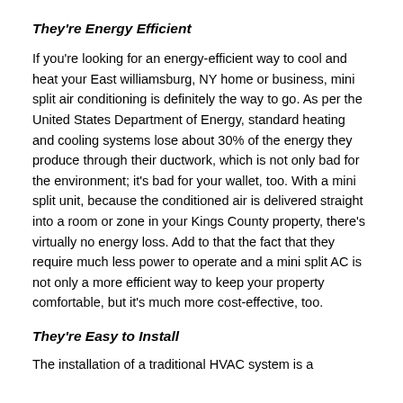They're Energy Efficient
If you're looking for an energy-efficient way to cool and heat your East williamsburg, NY home or business, mini split air conditioning is definitely the way to go. As per the United States Department of Energy, standard heating and cooling systems lose about 30% of the energy they produce through their ductwork, which is not only bad for the environment; it's bad for your wallet, too. With a mini split unit, because the conditioned air is delivered straight into a room or zone in your Kings County property, there's virtually no energy loss. Add to that the fact that they require much less power to operate and a mini split AC is not only a more efficient way to keep your property comfortable, but it's much more cost-effective, too.
They're Easy to Install
The installation of a traditional HVAC system is a